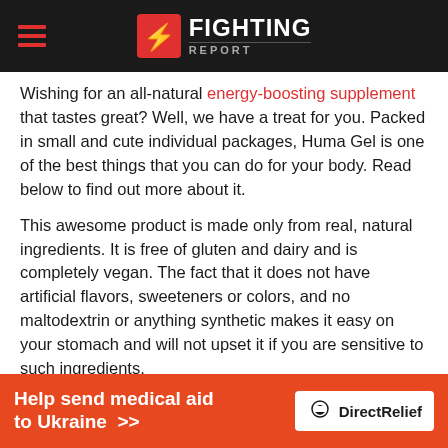FIGHTING REPORT
Wishing for an all-natural energy-boosting supplement that tastes great? Well, we have a treat for you. Packed in small and cute individual packages, Huma Gel is one of the best things that you can do for your body. Read below to find out more about it.
This awesome product is made only from real, natural ingredients. It is free of gluten and dairy and is completely vegan. The fact that it does not have artificial flavors, sweeteners or colors, and no maltodextrin or anything synthetic makes it easy on your stomach and will not upset it if you are sensitive to such ingredients.
It is easy to swallow, not to mention that it has a great taste. It tastes of real fruit and chia seed. It is a natural source of
[Figure (infographic): Orange banner advertisement: Help send medical aid to Ukraine >> with DirectRelief logo on the right]